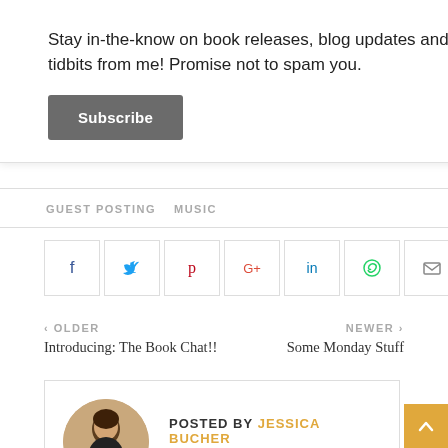Stay in-the-know on book releases, blog updates and tidbits from me! Promise not to spam you.
Subscribe
GUEST POSTING
MUSIC
[Figure (infographic): Social media sharing icons: Facebook, Twitter, Pinterest, Google+, LinkedIn, WhatsApp, Email — each in a square bordered box]
‹ OLDER
Introducing: The Book Chat!!
NEWER ›
Some Monday Stuff
POSTED BY JESSICA BUCHER
Young Adult Author